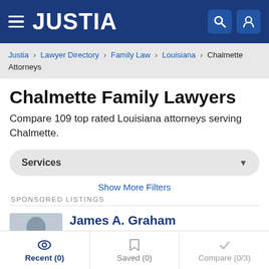JUSTIA
Justia > Lawyer Directory > Family Law > Louisiana > Chalmette Attorneys
Chalmette Family Lawyers
Compare 109 top rated Louisiana attorneys serving Chalmette.
Services
Show More Filters
SPONSORED LISTINGS
James A. Graham
Recent (0)   Saved (0)   Compare (0/3)